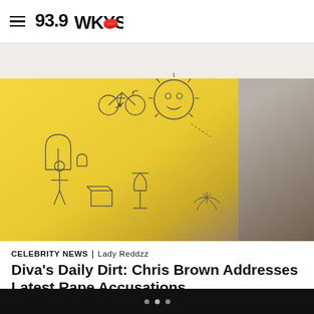93.9 WKYS
[Figure (photo): Photo of a yellow sweatshirt/jacket with small hand-drawn style illustrations including a sun with a face, a bicycle, mushrooms, and other doodle-like figures. A grey/brown textured background is visible to the right.]
CELEBRITY NEWS | Lady Reddzz
Diva's Daily Dirt: Chris Brown Addresses Latest Rape Accusations
Chris Brown Addresses Latest Rape Accusations   Chris Brown is calling CAP on the latest accusations of rape according to TMZ. The media outlet (TMZ)  is first to break the news of a new lawsuit filed by a  Jane Doe who claims the Grammy winning singer allegedly drugged and raped her. The 32 […]